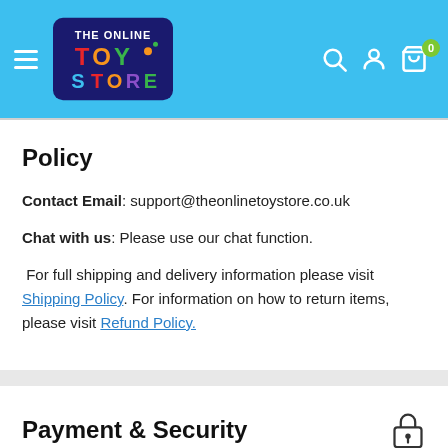The Online Toy Store — navigation header with logo, search, account, and cart icons
Policy
Contact Email: support@theonlinetoystore.co.uk
Chat with us: Please use our chat function.
For full shipping and delivery information please visit Shipping Policy. For information on how to return items, please visit Refund Policy.
Payment & Security